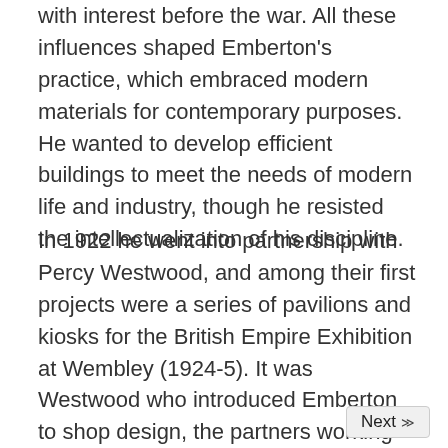with interest before the war. All these influences shaped Emberton's practice, which embraced modern materials for contemporary purposes. He wanted to develop efficient buildings to meet the needs of modern life and industry, though he resisted the intellectualization of his discipline.
In 1922 he went into partnership with Percy Westwood, and among their first projects were a series of pavilions and kiosks for the British Empire Exhibition at Wembley (1924-5). It was Westwood who introduced Emberton to shop design, the partners working together on Austin Reed's shop in Regent Street and office building, Summit House, Red Lion Square (1925-6). In 1926 Emberton left the partnership to work alone, going on to design the Advertising Association's first exhibition in 1927 and a